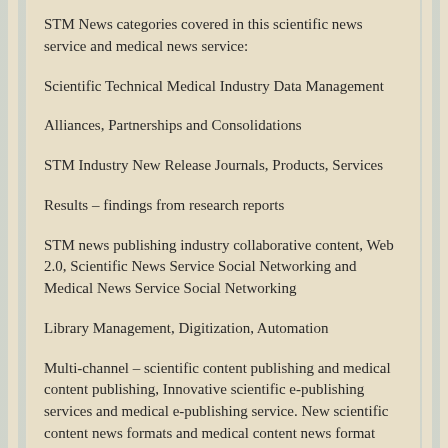STM News categories covered in this scientific news service and medical news service:
Scientific Technical Medical Industry Data Management
Alliances, Partnerships and Consolidations
STM Industry New Release Journals, Products, Services
Results – findings from research reports
STM news publishing industry collaborative content, Web 2.0, Scientific News Service Social Networking and Medical News Service Social Networking
Library Management, Digitization, Automation
Multi-channel – scientific content publishing and medical content publishing, Innovative scientific e-publishing services and medical e-publishing service. New scientific content news formats and medical content news format